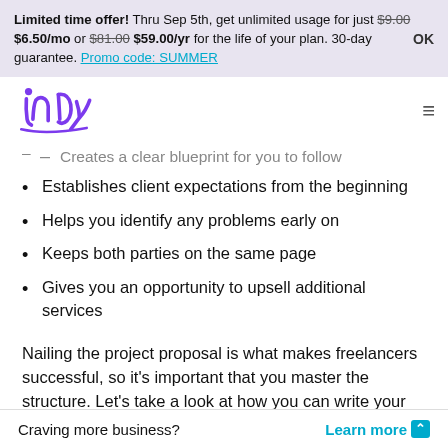Limited time offer! Thru Sep 5th, get unlimited usage for just $9.00 $6.50/mo or $81.00 $59.00/yr for the life of your plan. 30-day guarantee. Promo code: SUMMER  OK
[Figure (logo): Indy logo in purple cursive script]
Creates a clear blueprint for you to follow
Establishes client expectations from the beginning
Helps you identify any problems early on
Keeps both parties on the same page
Gives you an opportunity to upsell additional services
Nailing the project proposal is what makes freelancers successful, so it's important that you master the structure. Let's take a look at how you can write your
Craving more business?   Learn more ˄